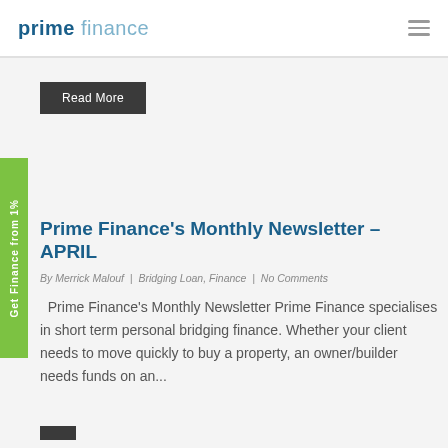prime finance
Read More
Prime Finance's Monthly Newsletter – APRIL
By Merrick Malouf | Bridging Loan, Finance | No Comments
Prime Finance's Monthly Newsletter Prime Finance specialises in short term personal bridging finance. Whether your client needs to move quickly to buy a property, an owner/builder needs funds on an...